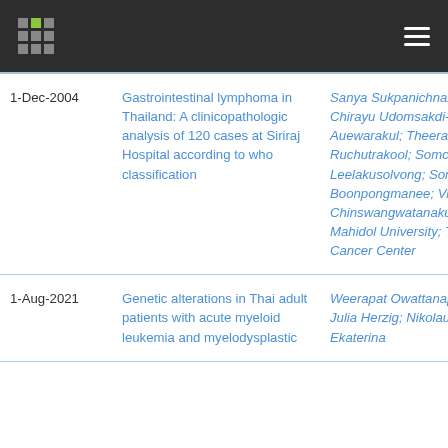| Date | Title | Authors |
| --- | --- | --- |
| 1-Dec-2004 | Gastrointestinal lymphoma in Thailand: A clinicopathologic analysis of 120 cases at Siriraj Hospital according to who classification | Sanya Sukpanichnant; Chirayu Udomsakdi-Auewarakul; Theera Ruchutrakool; Somchai Leelakusolvong; Somprak Boonpongmanee; Vitoon Chinswangwatanakul; Mahidol University; Tri-Cities Cancer Center |
| 1-Aug-2021 | Genetic alterations in Thai adult patients with acute myeloid leukemia and myelodysplastic | Weerapat Owattanapanich; Julia Herzig; Nikolaus Jahn; Ekaterina |